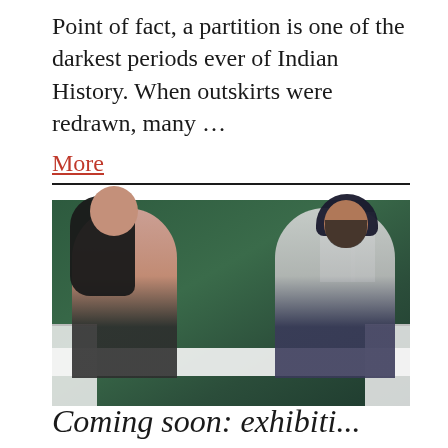Point of fact, a partition is one of the darkest periods ever of Indian History. When outskirts were redrawn, many … More
[Figure (photo): A young woman in a pink floral top and a young Sikh man in a black turban and white shirt sitting together, smiling at each other, against a dark green wall background]
Coming soon: exhibiti...